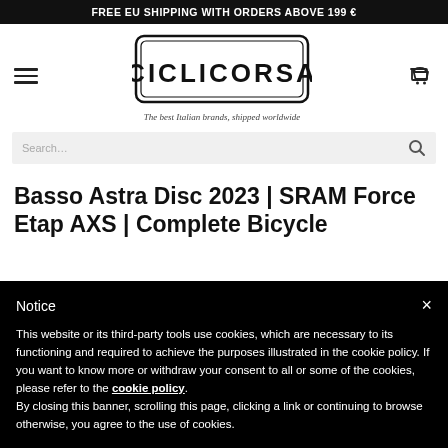FREE EU SHIPPING WITH ORDERS ABOVE 199 €
[Figure (logo): CICLICORSA logo in rectangular border, with tagline: The best Italian brands, shipped worldwide]
Search…
Basso Astra Disc 2023 | SRAM Force Etap AXS | Complete Bicycle
Notice
This website or its third-party tools use cookies, which are necessary to its functioning and required to achieve the purposes illustrated in the cookie policy. If you want to know more or withdraw your consent to all or some of the cookies, please refer to the cookie policy. By closing this banner, scrolling this page, clicking a link or continuing to browse otherwise, you agree to the use of cookies.